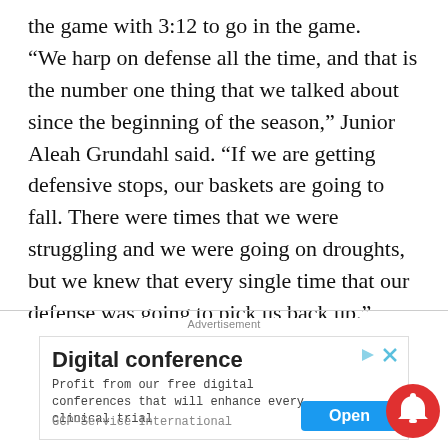the game with 3:12 to go in the game.

“We harp on defense all the time, and that is the number one thing that we talked about since the beginning of the season,” Junior Aleah Grundahl said. “If we are getting defensive stops, our baskets are going to fall. There were times that we were struggling and we were going on droughts, but we knew that every single time that our defense was going to pick us back up.”
Advertisement
[Figure (screenshot): Advertisement banner for 'Digital conference' by GCP-Service International with an Open button]